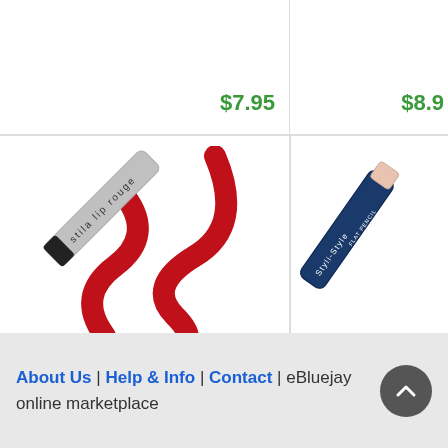$7.95
$8.9...
[Figure (photo): Stila lip rouge pencil with red swirl stroke]
Free Shipping Stila ...
$8.99
[Figure (photo): Styli-Style flat pencil in navy blue]
FREE SHIPPING Styli-...
$5.8...
About Us | Help & Info | Contact | eBluejay online marketplace